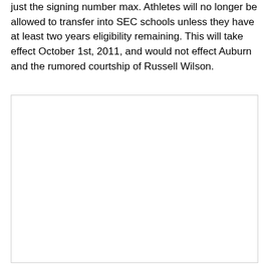just the signing number max. Athletes will no longer be allowed to transfer into SEC schools unless they have at least two years eligibility remaining. This will take effect October 1st, 2011, and would not effect Auburn and the rumored courtship of Russell Wilson.
[Figure (other): Large blank white image area with a light gray border]